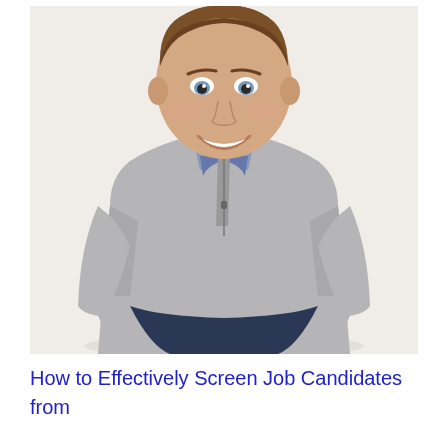[Figure (photo): Professional headshot of a smiling man with brown hair wearing a grey zip-neck sweater over a plaid collared shirt, leaning forward slightly with a white background.]
How to Effectively Screen Job Candidates from Online Postings